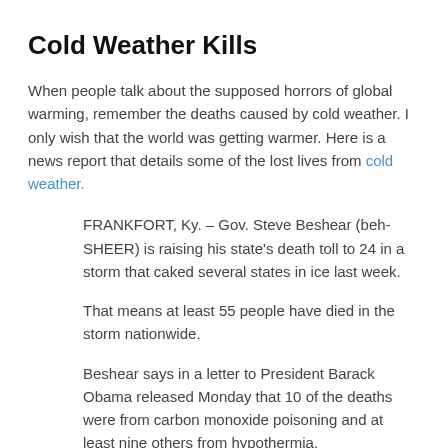Cold Weather Kills
When people talk about the supposed horrors of global warming, remember the deaths caused by cold weather. I only wish that the world was getting warmer. Here is a news report that details some of the lost lives from cold weather.
FRANKFORT, Ky. – Gov. Steve Beshear (beh-SHEER) is raising his state's death toll to 24 in a storm that caked several states in ice last week.
That means at least 55 people have died in the storm nationwide.
Beshear says in a letter to President Barack Obama released Monday that 10 of the deaths were from carbon monoxide poisoning and at least nine others from hypothermia.